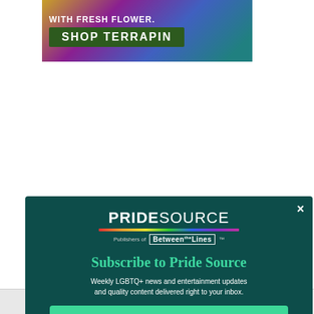[Figure (illustration): Advertisement banner for Terrapin with colorful floral background. Text reads 'WITH FRESH FLOWER. SHOP TERRAPIN' with dark green box around SHOP TERRAPIN.]
[Figure (screenshot): Modal popup overlay on dark teal background with PrideSource logo (Publishers of Between The Lines), rainbow stripe bar, Subscribe to Pride Source heading in green, body text about LGBTQ+ news, and a green Subscribe Now button.]
PRIDESOURCE
Publishers of Between The Lines
Subscribe to Pride Source
Weekly LGBTQ+ news and entertainment updates and quality content delivered right to your inbox.
Subscribe Now